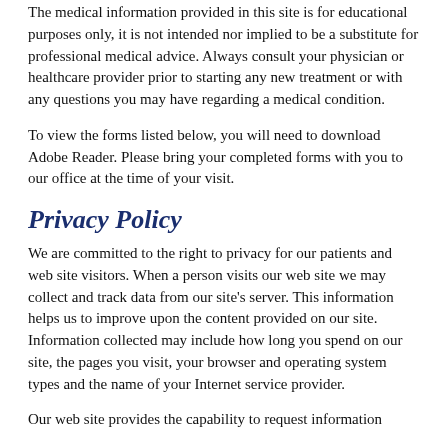The medical information provided in this site is for educational purposes only, it is not intended nor implied to be a substitute for professional medical advice. Always consult your physician or healthcare provider prior to starting any new treatment or with any questions you may have regarding a medical condition.
To view the forms listed below, you will need to download Adobe Reader. Please bring your completed forms with you to our office at the time of your visit.
Privacy Policy
We are committed to the right to privacy for our patients and web site visitors. When a person visits our web site we may collect and track data from our site's server. This information helps us to improve upon the content provided on our site. Information collected may include how long you spend on our site, the pages you visit, your browser and operating system types and the name of your Internet service provider.
Our web site provides the capability to request information and/or...